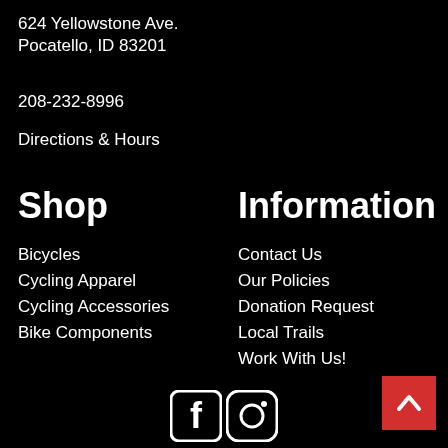624 Yellowstone Ave.
Pocatello, ID 83201
208-232-8996
Directions & Hours
Shop
Bicycles
Cycling Apparel
Cycling Accessories
Bike Components
Information
Contact Us
Our Policies
Donation Request
Local Trails
Work With Us!
[Figure (logo): Facebook and Instagram social media icons in white on black background]